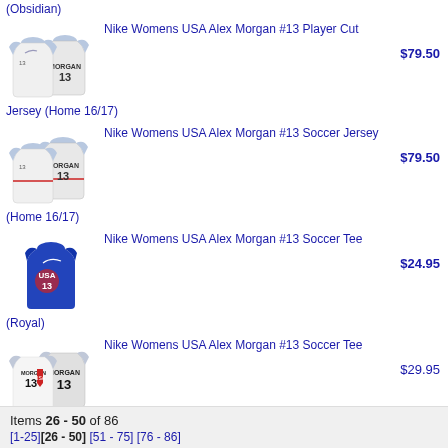(Obsidian)
[Figure (photo): Nike Womens USA Alex Morgan #13 Player Cut Jersey product image showing two jerseys]
Nike Womens USA Alex Morgan #13 Player Cut
$79.50
Jersey (Home 16/17)
[Figure (photo): Nike Womens USA Alex Morgan #13 Soccer Jersey product image showing two jerseys]
Nike Womens USA Alex Morgan #13 Soccer Jersey
$79.50
(Home 16/17)
[Figure (photo): Nike Womens USA Alex Morgan #13 Soccer Tee in Royal blue]
Nike Womens USA Alex Morgan #13 Soccer Tee
$24.95
(Royal)
[Figure (photo): Nike Womens USA Alex Morgan #13 Soccer Tee in White]
Nike Womens USA Alex Morgan #13 Soccer Tee
$29.95
(White)
Items 26 - 50 of 86 [1-25][26 - 50] [51 - 75] [76 - 86]